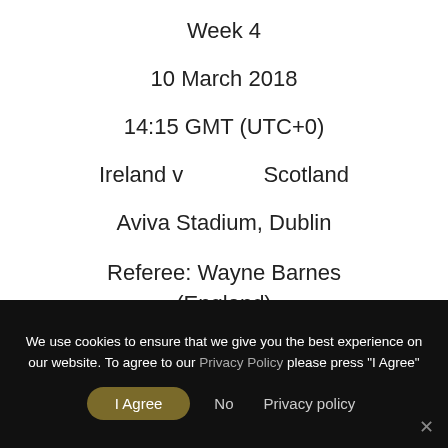Week 4
10 March 2018
14:15 GMT (UTC+0)
Ireland v        Scotland
Aviva Stadium, Dublin
Referee: Wayne Barnes (England)
10 March 2018
We use cookies to ensure that we give you the best experience on our website. To agree to our Privacy Policy please press "I Agree"  | I Agree | No | Privacy policy